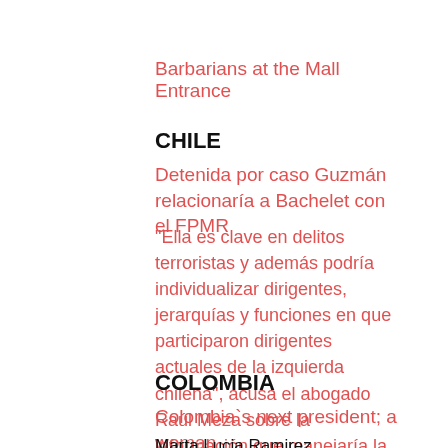Barbarians at the Mall Entrance
CHILE
Detenida por caso Guzmán relacionaría a Bachelet con el FPMR
“Ella es clave en delitos terroristas y además podría individualizar dirigentes, jerarquías y funciones en que participaron dirigentes actuales de la izquierda chilena”, acusa el abogado Raúl Meza sobre la información que manejaría la “Comandante Ana”.
COLOMBIA
Colombia`s next president; a woman
Marta Lucia Ramirez